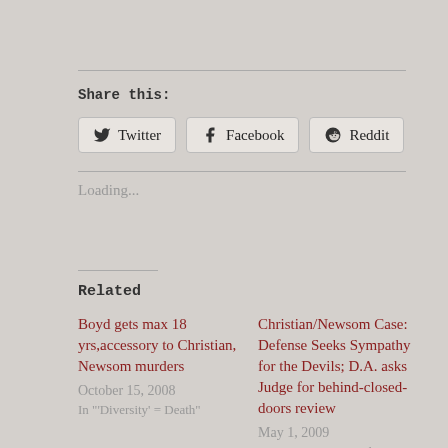Share this:
Twitter  Facebook  Reddit
Loading...
Related
Boyd gets max 18 yrs,accessory to Christian, Newsom murders
October 15, 2008
In "'Diversity' = Death"
Christian/Newsom Case: Defense Seeks Sympathy for the Devils; D.A. asks Judge for behind-closed-doors review
May 1, 2009
In "'Diversity' = Death"